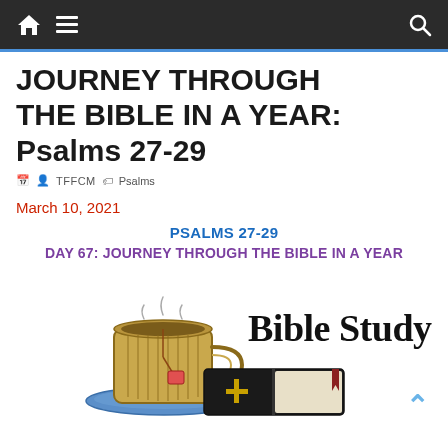Navigation bar with home, menu, and search icons
JOURNEY THROUGH THE BIBLE IN A YEAR: Psalms 27-29
TFFCM   Psalms
March 10, 2021
PSALMS 27-29
DAY 67: JOURNEY THROUGH THE BIBLE IN A YEAR
[Figure (illustration): Bible Study illustration showing a mug of tea on a saucer next to an open Bible with a cross, with the text 'Bible Study' in large serif font]